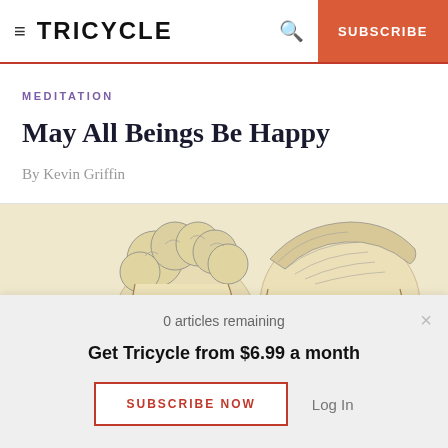TRICYCLE  SUBSCRIBE
MEDITATION
May All Beings Be Happy
By Kevin Griffin
[Figure (illustration): Pencil sketch illustration of two human heads/faces viewed from above on a cream/beige background]
0 articles remaining
Get Tricycle from $6.99 a month
SUBSCRIBE NOW   Log In